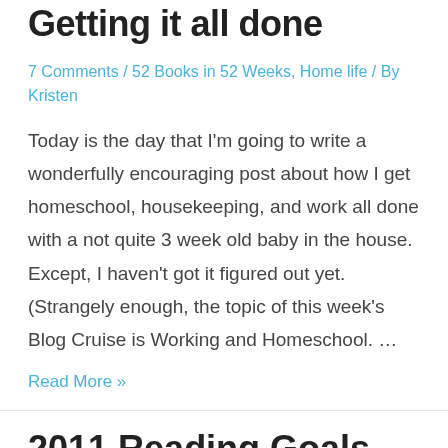Getting it all done
7 Comments / 52 Books in 52 Weeks, Home life / By Kristen
Today is the day that I'm going to write a wonderfully encouraging post about how I get homeschool, housekeeping, and work all done with a not quite 3 week old baby in the house. Except, I haven't got it figured out yet. (Strangely enough, the topic of this week's Blog Cruise is Working and Homeschool. …
Read More »
2011 Reading Goals